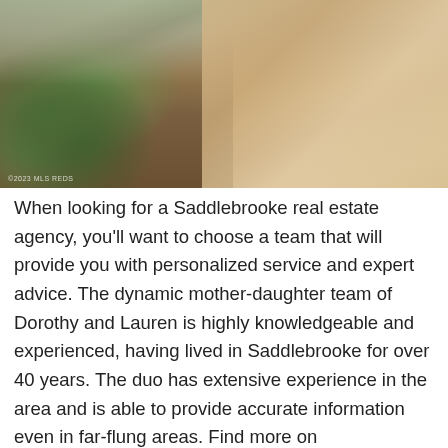[Figure (photo): Exterior photo of a Saddlebrooke home showing a stone-tiled driveway, desert landscaping with green shrubs and brown gravel on the left, and a garage in the background.]
When looking for a Saddlebrooke real estate agency, you'll want to choose a team that will provide you with personalized service and expert advice. The dynamic mother-daughter team of Dorothy and Lauren is highly knowledgeable and experienced, having lived in Saddlebrooke for over 40 years. The duo has extensive experience in the area and is able to provide accurate information even in far-flung areas. Find more on https://soldonsaddlebrooke.com.